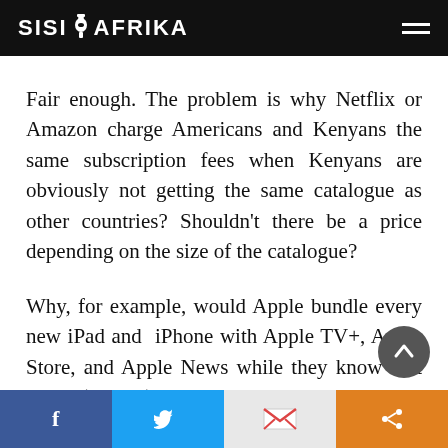SISI AFRIKA
Fair enough. The problem is why Netflix or Amazon charge Americans and Kenyans the same subscription fees when Kenyans are obviously not getting the same catalogue as other countries? Shouldn’t there be a price depending on the size of the catalogue?
Why, for example, would Apple bundle every new iPad and  iPhone with Apple TV+, Apple Store, and Apple News while they know that this is (largely)